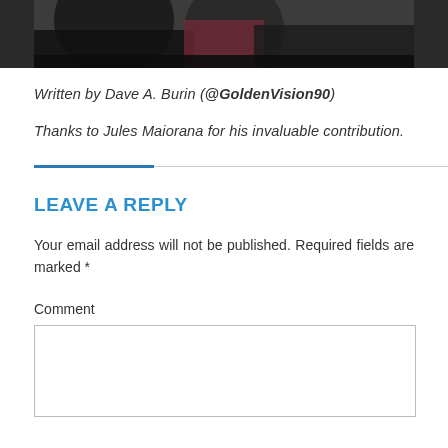[Figure (photo): Partial photo of people outdoors, cropped at the top of the page]
Written by Dave A. Burin (@GoldenVision90)
Thanks to Jules Maiorana for his invaluable contribution.
LEAVE A REPLY
Your email address will not be published. Required fields are marked *
Comment